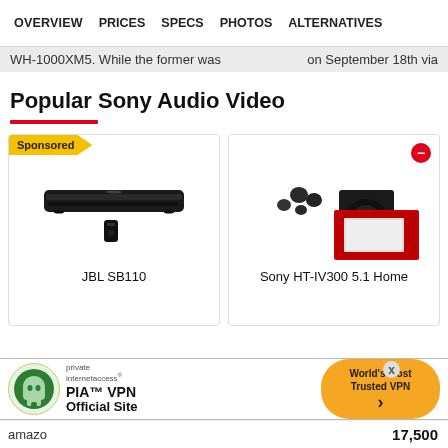OVERVIEW  PRICES  SPECS  PHOTOS  ALTERNATIVES
WH-1000XM5. While the former was ... on September 18th via
Popular Sony Audio Video
[Figure (photo): JBL SB110 soundbar product image with remote]
JBL SB110
[Figure (photo): Sony HT-IV300 5.1 Home Theater speaker system product image with box]
Sony HT-IV300 5.1 Home
[Figure (infographic): PIA VPN advertisement banner with logo, text 'PIA™ VPN Official Site', and 'World's Most Trusted VPN' button]
amazo
17,500